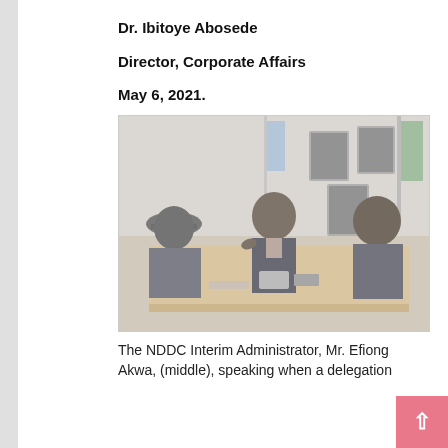Dr. Ibitoye Abosede
Director, Corporate Affairs
May 6, 2021.
[Figure (photo): Three men seated around a conference table in an office. Framed photographs hang on the wall in the background along with a flag. The man in the middle (Mr. Efiong Akwa, NDDC Interim Administrator) appears to be speaking, gesturing with his hand.]
The NDDC Interim Administrator, Mr. Efiong Akwa, (middle), speaking when a delegation